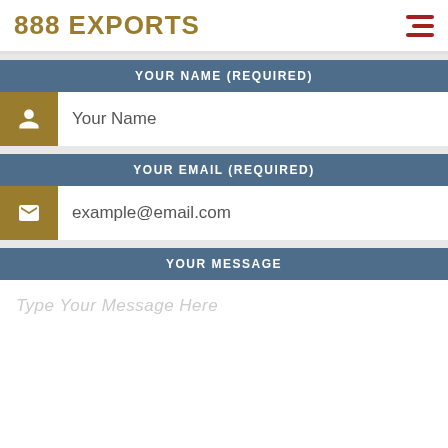888 EXPORTS
YOUR NAME (REQUIRED)
Your Name
YOUR EMAIL (REQUIRED)
example@email.com
YOUR MESSAGE
Type Your Message Here